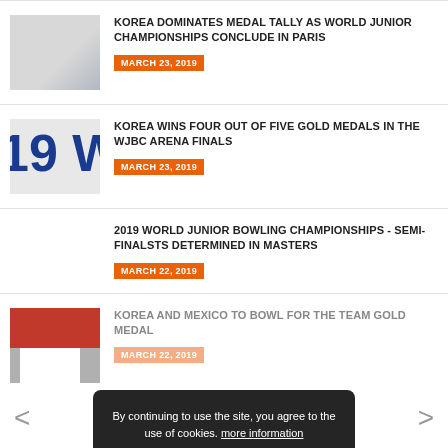[Figure (photo): Thumbnail image of white fabric/jersey]
KOREA DOMINATES MEDAL TALLY AS WORLD JUNIOR CHAMPIONSHIPS CONCLUDE IN PARIS
MARCH 23, 2019
[Figure (photo): Thumbnail image showing '19 W' text in blue on white background]
KOREA WINS FOUR OUT OF FIVE GOLD MEDALS IN THE WJBC ARENA FINALS
MARCH 23, 2019
2019 WORLD JUNIOR BOWLING CHAMPIONSHIPS - SEMI-FINALSTS DETERMINED IN MASTERS
MARCH 22, 2019
[Figure (photo): Thumbnail image with red and white sections]
KOREA AND MEXICO TO BOWL FOR THE TEAM GOLD MEDAL
MARCH 22, 2019
By continuing to use the site, you agree to the use of cookies. more information
Accept